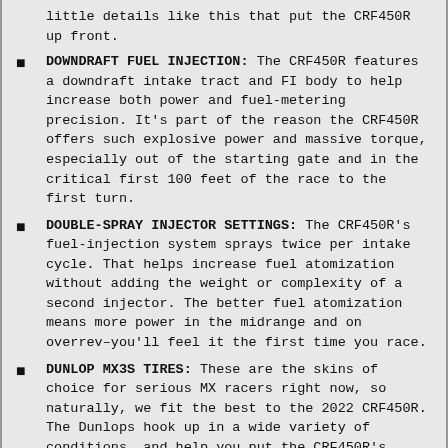little details like this that put the CRF450R up front.
DOWNDRAFT FUEL INJECTION: The CRF450R features a downdraft intake tract and FI body to help increase both power and fuel-metering precision. It’s part of the reason the CRF450R offers such explosive power and massive torque, especially out of the starting gate and in the critical first 100 feet of the race to the first turn.
DOUBLE-SPRAY INJECTOR SETTINGS: The CRF450R’s fuel-injection system sprays twice per intake cycle. That helps increase fuel atomization without adding the weight or complexity of a second injector. The better fuel atomization means more power in the midrange and on overrev–you’ll feel it the first time you race.
DUNLOP MX3S TIRES: These are the skins of choice for serious MX racers right now, so naturally, we fit the best to the 2022 CRF450R. The Dunlops hook up in a wide variety of conditions, and help you put the CRF450R’s improved cornering performance to the ground.
CYLINDER HEAD LAYOUT: The CRF450R uses our latest finger-follower rocker design. The Unicam cylinder head remains one of the most efficient in the MX world, but there’s also a